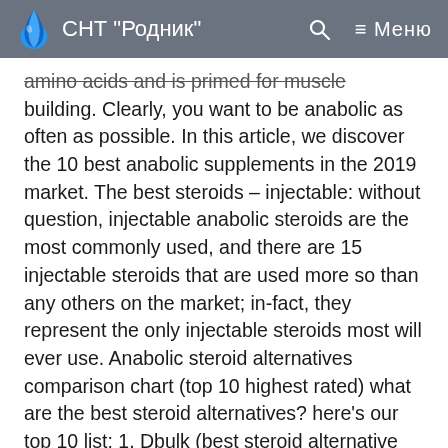СНТ "Родник"
amino acids and is primed for muscle building. Clearly, you want to be anabolic as often as possible. In this article, we discover the 10 best anabolic supplements in the 2019 market. The best steroids – injectable: without question, injectable anabolic steroids are the most commonly used, and there are 15 injectable steroids that are used more so than any others on the market; in-fact, they represent the only injectable steroids most will ever use. Anabolic steroid alternatives comparison chart (top 10 highest rated) what are the best steroid alternatives? here's our top 10 list: 1. Dbulk (best steroid alternative overall) 2. Abulk (closest supplement to steroids) 3. Tbulk (natural